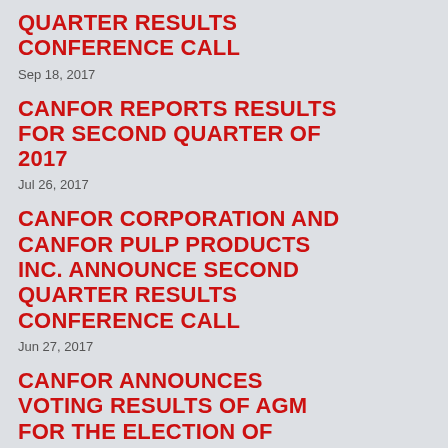QUARTER RESULTS CONFERENCE CALL
Sep 18, 2017
CANFOR REPORTS RESULTS FOR SECOND QUARTER OF 2017
Jul 26, 2017
CANFOR CORPORATION AND CANFOR PULP PRODUCTS INC. ANNOUNCE SECOND QUARTER RESULTS CONFERENCE CALL
Jun 27, 2017
CANFOR ANNOUNCES VOTING RESULTS OF AGM FOR THE ELECTION OF DIRECTORS